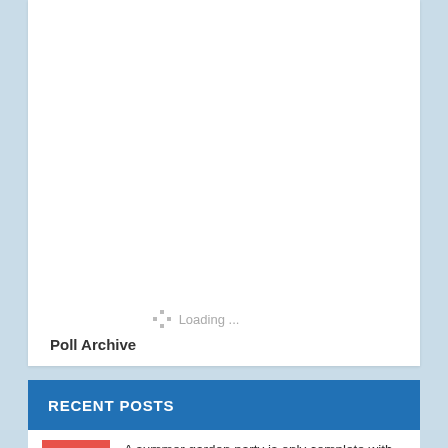[Figure (screenshot): White card area with loading spinner and 'Loading ...' text]
Loading ...
Poll Archive
RECENT POSTS
A summer garden party is only complete with the right stuff...